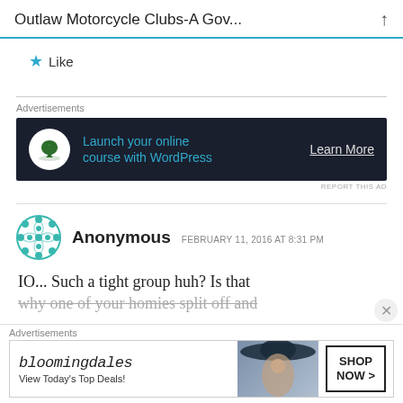Outlaw Motorcycle Clubs-A Gov...
Like
Advertisements
[Figure (infographic): Dark advertisement banner for WordPress online course with bonsai tree logo, text 'Launch your online course with WordPress' and 'Learn More' button]
REPORT THIS AD
Anonymous   FEBRUARY 11, 2016 AT 8:31 PM
IO... Such a tight group huh? Is that why one of your homies split off and
Advertisements
[Figure (infographic): Bloomingdales advertisement banner showing 'View Today's Top Deals!' with woman in wide-brim hat image and 'SHOP NOW >' button]